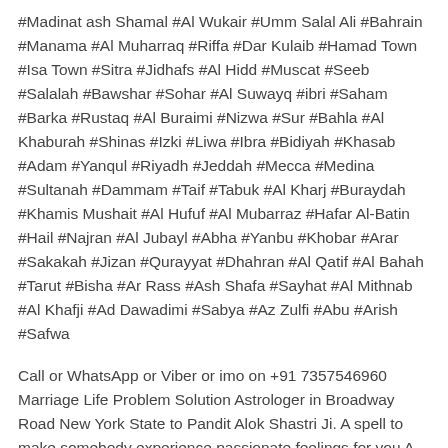#Madinat ash Shamal #Al Wukair #Umm Salal Ali #Bahrain #Manama #Al Muharraq #Riffa #Dar Kulaib #Hamad Town #Isa Town #Sitra #Jidhafs #Al Hidd #Muscat #Seeb #Salalah #Bawshar #Sohar #Al Suwayq #ibri #Saham #Barka #Rustaq #Al Buraimi #Nizwa #Sur #Bahla #Al Khaburah #Shinas #Izki #Liwa #Ibra #Bidiyah #Khasab #Adam #Yanqul #Riyadh #Jeddah #Mecca #Medina #Sultanah #Dammam #Taif #Tabuk #Al Kharj #Buraydah #Khamis Mushait #Al Hufuf #Al Mubarraz #Hafar Al-Batin #Hail #Najran #Al Jubayl #Abha #Yanbu #Khobar #Arar #Sakakah #Jizan #Qurayyat #Dhahran #Al Qatif #Al Bahah #Tarut #Bisha #Ar Rass #Ash Shafa #Sayhat #Al Mithnab #Al Khafji #Ad Dawadimi #Sabya #Az Zulfi #Abu #Arish #Safwa
Call or WhatsApp or Viber or imo on +91 7357546960 Marriage Life Problem Solution Astrologer in Broadway Road New York State to Pandit Alok Shastri Ji. A spell to make somebody experience passionate feelings for you A spell to make